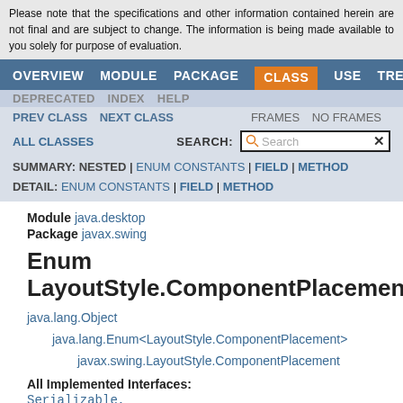Please note that the specifications and other information contained herein are not final and are subject to change. The information is being made available to you solely for purpose of evaluation.
OVERVIEW  MODULE  PACKAGE  CLASS  USE  TREE
DEPRECATED  INDEX  HELP
PREV CLASS  NEXT CLASS  FRAMES  NO FRAMES
ALL CLASSES  SEARCH:
SUMMARY: NESTED | ENUM CONSTANTS | FIELD | METHOD  DETAIL: ENUM CONSTANTS | FIELD | METHOD
Module java.desktop
Package javax.swing
Enum LayoutStyle.ComponentPlacement
java.lang.Object
  java.lang.Enum<LayoutStyle.ComponentPlacement>
    javax.swing.LayoutStyle.ComponentPlacement
All Implemented Interfaces:
Serializable,
Comparable<LayoutStyle.ComponentPlacement>